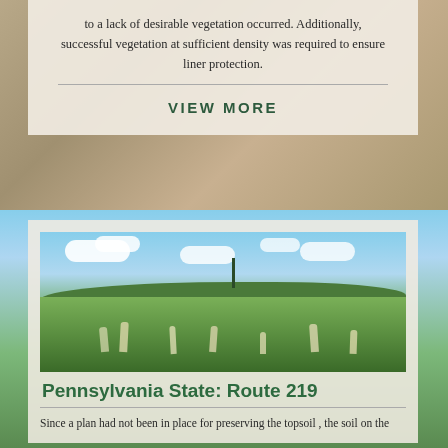to a lack of desirable vegetation occurred. Additionally, successful vegetation at sufficient density was required to ensure liner protection.
VIEW MORE
[Figure (photo): Outdoor landscape photo showing a meadow with tall grasses and wildflowers in the foreground, a tree line of mixed trees in the middle ground, rolling hills in the background, and a blue sky with white clouds above. A single tall thin tree stands prominently against the sky.]
Pennsylvania State: Route 219
Since a plan had not been in place for preserving the topsoil , the soil on the